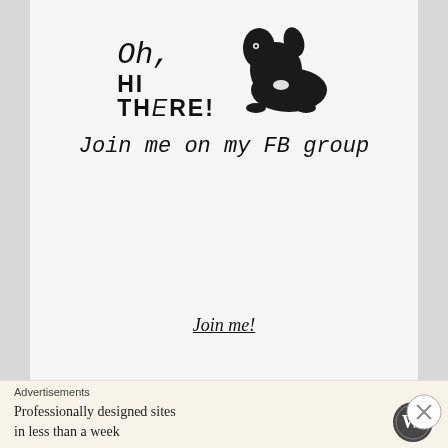[Figure (illustration): Promotional banner with a black puppy photo and handwritten-style text reading 'Oh, HI THERE!' and 'Join me on my FB group']
Join me!
Follow me:
[Figure (infographic): Three social media icons: Facebook, Twitter, Pinterest]
Advertisements
Professionally designed sites in less than a week